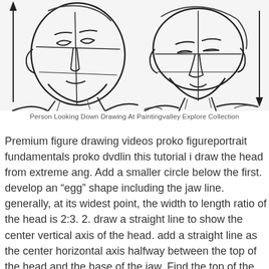[Figure (illustration): Two sketch drawings of a human head/face viewed from slightly below, showing construction lines. Left head faces slightly right with an upward arrow on the left side. Right head faces forward with a downward arrow on the right side. Both drawings show horizontal and vertical axis construction lines.]
Person Looking Down Drawing At Paintingvalley Explore Collection
Premium figure drawing videos proko figureportrait fundamentals proko dvdlin this tutorial i draw the head from extreme ang. Add a smaller circle below the first. develop an “egg” shape including the jaw line. generally, at its widest point, the width to length ratio of the head is 2:3. 2. draw a straight line to show the center vertical axis of the head. add a straight line as the center horizontal axis halfway between the top of the head and the base of the jaw. Find the top of the rib cage at the pit of the neck, and follow a line down the sternum, past the center of the torso, the navel, and down to the bottom